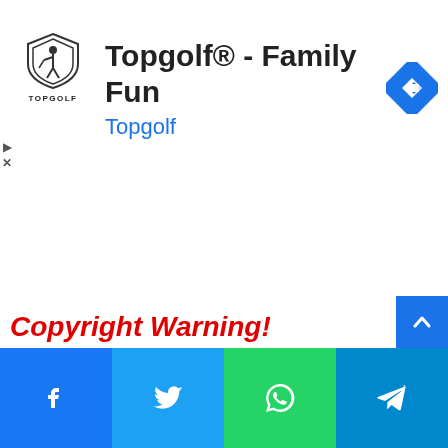[Figure (logo): Topgolf shield logo with golfer silhouette and TOPGOLF text below]
Topgolf® - Family Fun
Topgolf
[Figure (other): Blue navigation diamond arrow icon]
[Figure (other): Collapse/minimize tab with caret up arrow]
Copyright Warning!
[Figure (other): Social sharing bar with Facebook, Twitter, WhatsApp, and Telegram buttons]